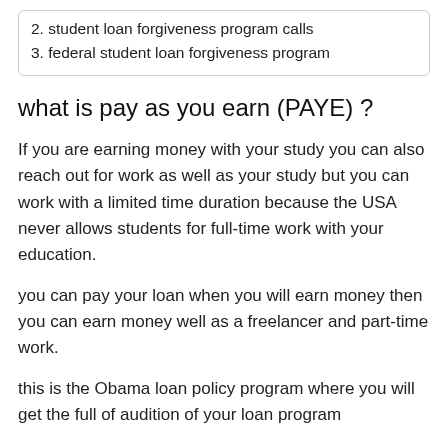2. student loan forgiveness program calls
3. federal student loan forgiveness program
what is pay as you earn (PAYE) ?
If you are earning money with your study you can also reach out for work as well as your study but you can work with a limited time duration because the USA never allows students for full-time work with your education.
you can pay your loan when you will earn money then you can earn money well as a freelancer and part-time work.
this is the Obama loan policy program where you will get the full of audition of your loan program